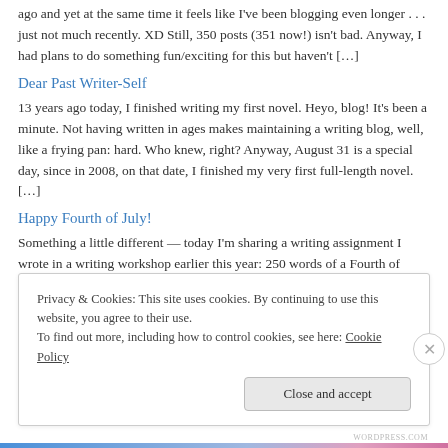ago and yet at the same time it feels like I've been blogging even longer . . . just not much recently. XD Still, 350 posts (351 now!) isn't bad. Anyway, I had plans to do something fun/exciting for this but haven't […]
Dear Past Writer-Self
13 years ago today, I finished writing my first novel. Heyo, blog! It's been a minute. Not having written in ages makes maintaining a writing blog, well, like a frying pan: hard. Who knew, right? Anyway, August 31 is a special day, since in 2008, on that date, I finished my very first full-length novel. […]
Happy Fourth of July!
Something a little different — today I'm sharing a writing assignment I wrote in a writing workshop earlier this year: 250 words of a Fourth of July…
Privacy & Cookies: This site uses cookies. By continuing to use this website, you agree to their use.
To find out more, including how to control cookies, see here: Cookie Policy
Close and accept